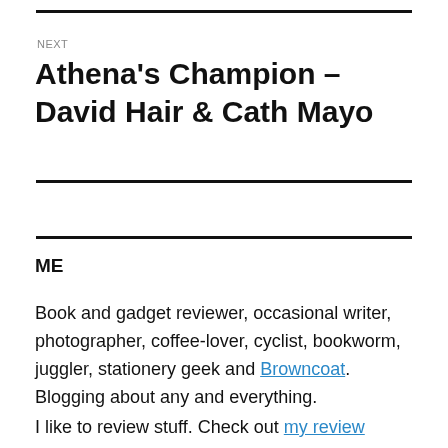NEXT
Athena's Champion – David Hair & Cath Mayo
ME
Book and gadget reviewer, occasional writer, photographer, coffee-lover, cyclist, bookworm, juggler, stationery geek and Browncoat. Blogging about any and everything.
I like to review stuff. Check out my review policy. I